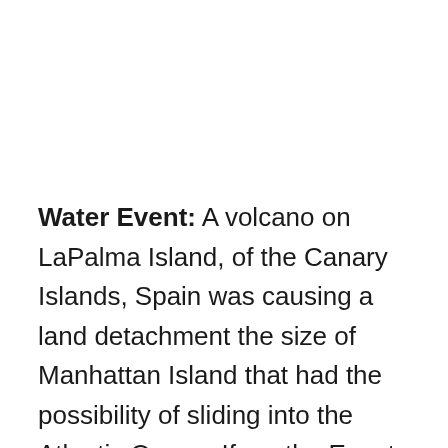Water Event: A volcano on LaPalma Island, of the Canary Islands, Spain was causing a land detachment the size of Manhattan Island that had the possibility of sliding into the Atlantic Ocean. If so, the Event would generate a Tsunami that would strike the US East Coast seven hours later, possibly inundating several miles on the US coastline under tens of feet of